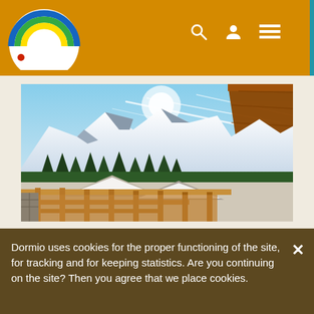Dormio website header with logo and navigation icons (search, user, menu)
[Figure (photo): Snowy mountain landscape viewed from a wooden chalet balcony. Snow-covered peaks and pine forest in the background, wooden railing and chalet rooftops in the foreground, blue sky with wispy clouds.]
Dormio uses cookies for the proper functioning of the site, for tracking and for keeping statistics. Are you continuing on the site? Then you agree that we place cookies.